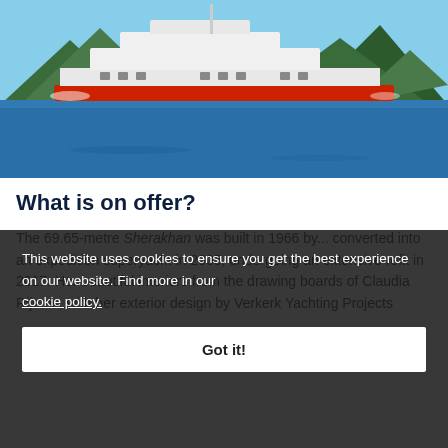[Figure (photo): Large white classic superyacht sailing on blue water with green mountainous islands in the background. The yacht has a red waterline stripe and multiple deck levels.]
What is on offer?
The 69.65-metre Sherakhan was built in 1966 by... converted into an expedition superyacht in 2005, undergoing an extensive refit in 2017. Her beautiful interiors from the drawing boards of Claudia Rijntes, with her exterior design by Verkerk Yachting Projects
This website uses cookies to ensure you get the best experience on our website. Find more in our cookie policy.